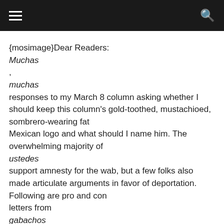≡  🔍
{mosimage}Dear Readers:
Muchas
,
muchas
responses to my March 8 column asking whether I should keep this column's gold-toothed, mustachioed, sombrero-wearing fat
Mexican logo and what should I name him. The overwhelming majority of
ustedes
support amnesty for the wab, but a few folks also made articulate arguments in favor of deportation. Following are pro and con
letters from
gabachos
and wabs alike:
POR AMNESTY